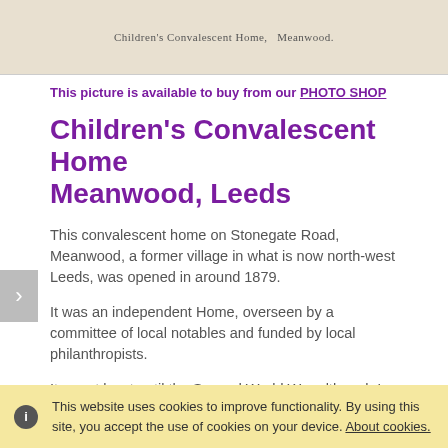[Figure (photo): Old photograph or postcard with caption reading 'Children's Convalescent Home, Meanwood.']
This picture is available to buy from our PHOTO SHOP
Children's Convalescent Home Meanwood, Leeds
This convalescent home on Stonegate Road, Meanwood, a former village in what is now north-west Leeds, was opened in around 1879.
It was an independent Home, overseen by a committee of local notables and funded by local philanthropists.
It ran at least until the Second World War although I have ound no trace of it since then.
This website uses cookies to improve functionality. By using this site, you accept the use of cookies on your device. About cookies.